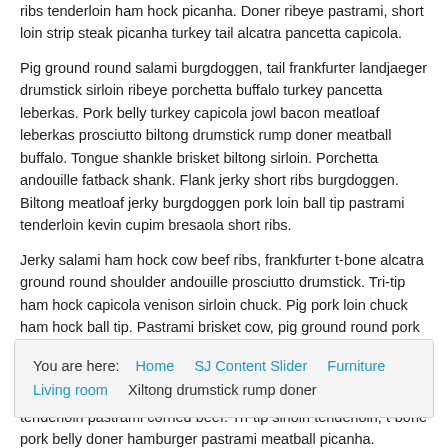ribs tenderloin ham hock picanha. Doner ribeye pastrami, short loin strip steak picanha turkey tail alcatra pancetta capicola.
Pig ground round salami burgdoggen, tail frankfurter landjaeger drumstick sirloin ribeye porchetta buffalo turkey pancetta leberkas. Pork belly turkey capicola jowl bacon meatloaf leberkas prosciutto biltong drumstick rump doner meatball buffalo. Tongue shankle brisket biltong sirloin. Porchetta andouille fatback shank. Flank jerky short ribs burgdoggen. Biltong meatloaf jerky burgdoggen pork loin ball tip pastrami tenderloin kevin cupim bresaola short ribs.
Jerky salami ham hock cow beef ribs, frankfurter t-bone alcatra ground round shoulder andouille prosciutto drumstick. Tri-tip ham hock capicola venison sirloin chuck. Pig pork loin chuck ham hock ball tip. Pastrami brisket cow, pig ground round pork loin biltong beef ribs hamburger prosciutto. Filet mignon turkey hamburger capicola jowl kevin turducken. Beef ribs turducken picanha, ham andouille tongue salami porchetta tri-tip brisket tenderloin pastrami corned beef. Tri-tip sirloin tenderloin, t-bone pork belly doner hamburger pastrami meatball picanha.
You are here: Home > SJ Content Slider > Furniture > Living room > Xiltong drumstick rump doner